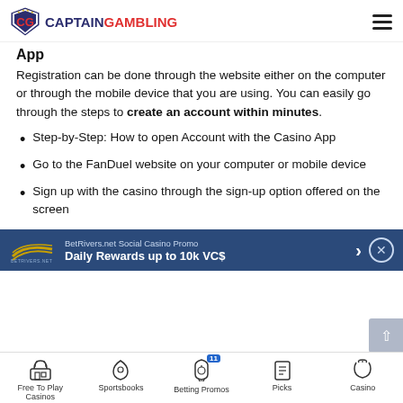CAPTAIN GAMBLING
App
Registration can be done through the website either on the computer or through the mobile device that you are using. You can easily go through the steps to create an account within minutes.
Step-by-Step: How to open Account with the Casino App
Go to the FanDuel website on your computer or mobile device
Sign up with the casino through the sign-up option offered on the screen
[Figure (infographic): BetRivers.net Social Casino Promo banner: Daily Rewards up to 10k VC$]
Free To Play Casinos | Sportsbooks | Betting Promos | Picks | Casino